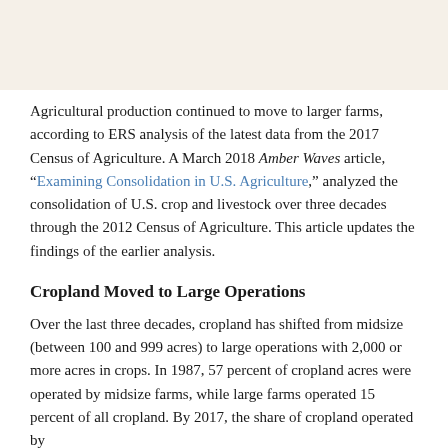[Figure (photo): Top portion of an image, appears to be a light beige/tan colored background area, likely a cropped agricultural photo.]
Agricultural production continued to move to larger farms, according to ERS analysis of the latest data from the 2017 Census of Agriculture. A March 2018 Amber Waves article, “Examining Consolidation in U.S. Agriculture,” analyzed the consolidation of U.S. crop and livestock over three decades through the 2012 Census of Agriculture. This article updates the findings of the earlier analysis.
Cropland Moved to Large Operations
Over the last three decades, cropland has shifted from midsize (between 100 and 999 acres) to large operations with 2,000 or more acres in crops. In 1987, 57 percent of cropland acres were operated by midsize farms, while large farms operated 15 percent of all cropland. By 2017, the share of cropland operated by